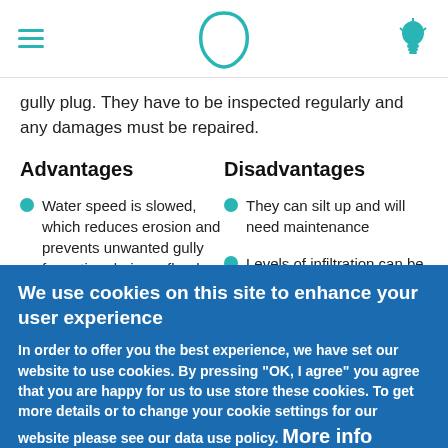Navigation header with hamburger menu, logo, and bulb icon
gully plug. They have to be inspected regularly and any damages must be repaired.
Advantages
Disadvantages
Water speed is slowed, which reduces erosion and prevents unwanted gully formation during a flood
They can silt up and will need maintenance
Levels of infiltration can be slow due to silt build-up
We use cookies on this site to enhance your user experience
In order to offer you the best experience, we have set our website to use cookies. By pressing "OK, I agree" you agree that you are happy for us to use store these cookies. To get more details or to change your cookie settings for our website please see our data use policy. More info